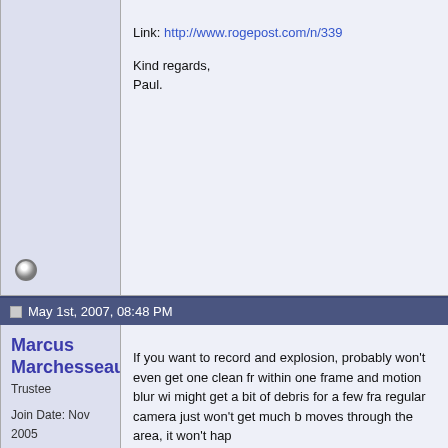Link: http://www.rogepost.com/n/339
Kind regards,
Paul.
May 1st, 2007, 08:48 PM
Marcus Marchesseault
Trustee
Join Date: Nov 2005
Location: Honolulu, HI
Posts: 1,961
If you want to record and explosion, probably won't even get one clean fr within one frame and motion blur wi might get a bit of debris for a few fra regular camera just won't get much moves through the area, it won't hap
"...slowed down to show the instant-
This is outside the parameters of a r you can't just go get a telephoto ada you still probably won't get one good before the flash. Chances are that a expansion of the explosion, you wou faster.
At 30fps with 1/2000 shutter, you are another exposure. Chances are that between frames. You would be lucky around.